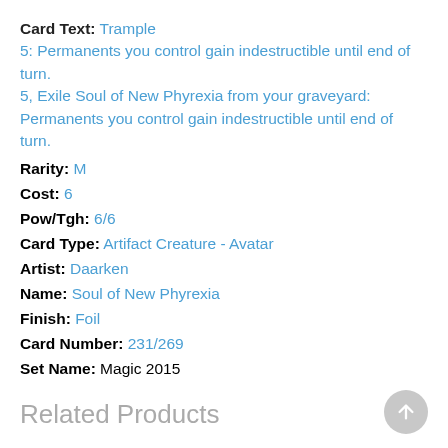Card Text: Trample
5: Permanents you control gain indestructible until end of turn.
5, Exile Soul of New Phyrexia from your graveyard: Permanents you control gain indestructible until end of turn.
Rarity: M
Cost: 6
Pow/Tgh: 6/6
Card Type: Artifact Creature - Avatar
Artist: Daarken
Name: Soul of New Phyrexia
Finish: Foil
Card Number: 231/269
Set Name: Magic 2015
Related Products